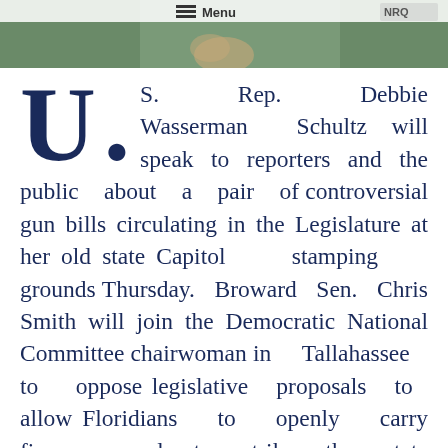[Figure (photo): Header image showing a person with hands folded, partial view, with navigation menu bar overlay at top showing 'Menu' text and logo elements]
U. S. Rep. Debbie Wasserman Schultz will speak to reporters and the public about a pair of controversial gun bills circulating in the Legislature at her old state Capitol stamping grounds Thursday. Broward Sen. Chris Smith will join the Democratic National Committee chairwoman in Tallahassee to oppose legislative proposals to allow Floridians to openly carry firearms and to strike the state prohibition against guns on